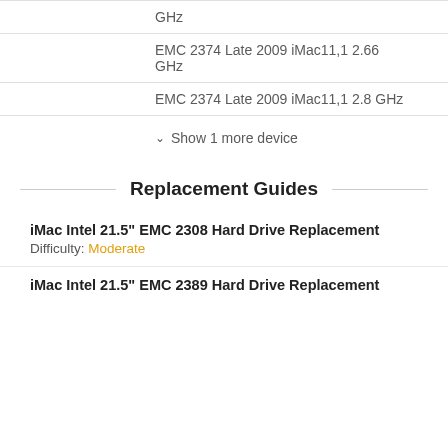GHz
EMC 2374 Late 2009 iMac11,1 2.66 GHz
EMC 2374 Late 2009 iMac11,1 2.8 GHz
Show 1 more device
Replacement Guides
iMac Intel 21.5" EMC 2308 Hard Drive Replacement
Difficulty: Moderate
iMac Intel 21.5" EMC 2389 Hard Drive Replacement